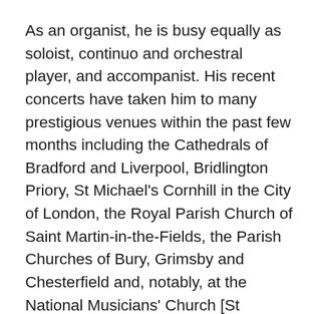As an organist, he is busy equally as soloist, continuo and orchestral player, and accompanist. His recent concerts have taken him to many prestigious venues within the past few months including the Cathedrals of Bradford and Liverpool, Bridlington Priory, St Michael's Cornhill in the City of London, the Royal Parish Church of Saint Martin-in-the-Fields, the Parish Churches of Bury, Grimsby and Chesterfield and, notably, at the National Musicians' Church [St Sepulchre-without-Newgate – the Church of the Bells of Old Bailey in the children's song – where Simon is Churchwarden and Chairman of the Friends of the Musicians' Chapel]. In the closing weeks of 2011 he accompanied Elijah and Messiah twice apiece in performances given with organ only and thus without benefit of orchestra –an undertaking requiring much energy and stamina.